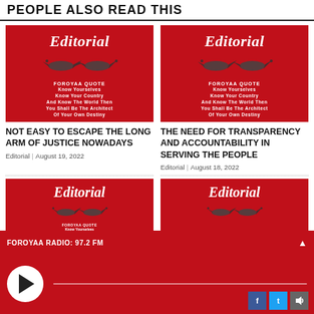PEOPLE ALSO READ THIS
[Figure (illustration): Editorial image with red background, Foroyaa logo bird, text 'FOROYAA QUOTE Know Yourselves Know Your Country And Know The World Then You Shall Be The Architect Of Your Own Destiny']
NOT EASY TO ESCAPE THE LONG ARM OF JUSTICE NOWADAYS
Editorial | August 19, 2022
[Figure (illustration): Editorial image with red background, Foroyaa logo bird, text 'FOROYAA QUOTE Know Yourselves Know Your Country And Know The World Then You Shall Be The Architect Of Your Own Destiny']
THE NEED FOR TRANSPARENCY AND ACCOUNTABILITY IN SERVING THE PEOPLE
Editorial | August 18, 2022
[Figure (illustration): Editorial image with red background, Foroyaa logo bird (bottom left article)]
THE NEED FOR TRANSPARENCY
[Figure (illustration): Editorial image with red background, Foroyaa logo bird (bottom right article)]
FOROYAA RADIO: 97.2 FM